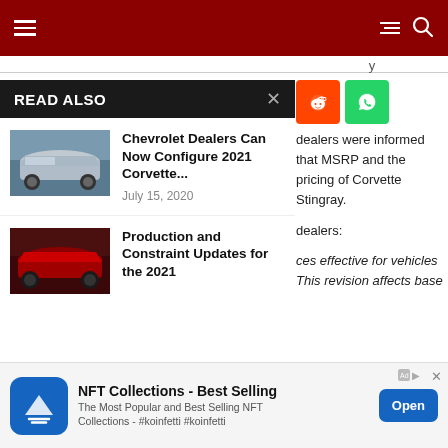Navigation header with hamburger menu and search icon on dark red background
READ ALSO
Chevrolet Dealers Can Now Configure 2021 Corvette...
July 15, 2020
Production and Constraint Updates for the 2021
dealers were informed that MSRP and the pricing of Corvette Stingray.
dealers:
ces effective for vehicles This revision affects base
[Figure (screenshot): Reddit and WhatsApp share buttons (orange and green)]
NFT Collections - Best Selling
The Most Popular and Best Selling NFT Collections - #koinfetti #koinfetti
[Figure (logo): Advertisement banner: NFT Collections - Best Selling app with Open button]